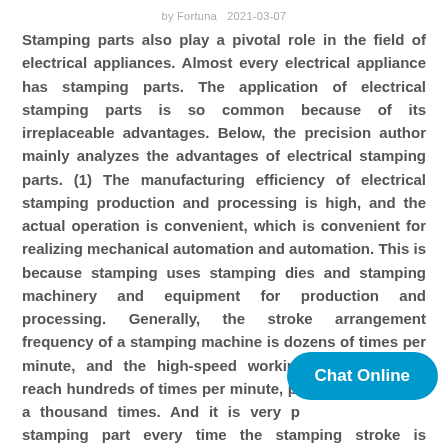by Fortuna   2021-03-07
Stamping parts also play a pivotal role in the field of electrical appliances. Almost every electrical appliance has stamping parts. The application of electrical stamping parts is so common because of its irreplaceable advantages. Below, the precision author mainly analyzes the advantages of electrical stamping parts. (1) The manufacturing efficiency of electrical stamping production and processing is high, and the actual operation is convenient, which is convenient for realizing mechanical automation and automation. This is because stamping uses stamping dies and stamping machinery and equipment for production and processing. Generally, the stroke arrangement frequency of a stamping machine is dozens of times per minute, and the high-speed working pressure must reach hundreds of times per minute, possibly more than a thousand times. And it is very possible to get a stamping part every time the stamping stroke is arranged. (2)